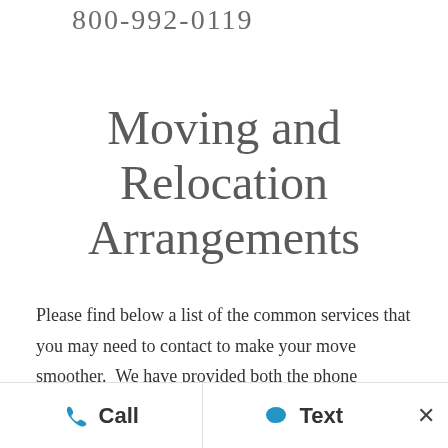800-992-0119
Moving and Relocation Arrangements
Please find below a list of the common services that you may need to contact to make your move smoother.  We have provided both the phone numbers and the web site links to make this more convenient for you.  These web sites are very informative.  If you cannot find what you are looking for then call the numbers
Call   Text   ×